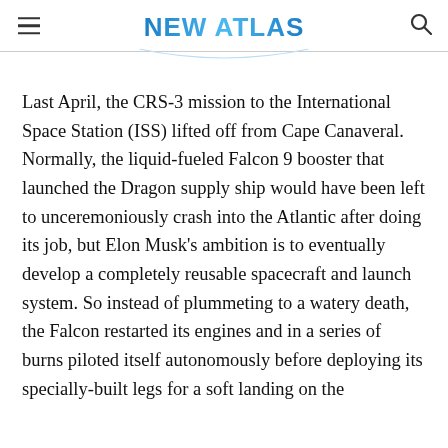NEW ATLAS
Last April, the CRS-3 mission to the International Space Station (ISS) lifted off from Cape Canaveral. Normally, the liquid-fueled Falcon 9 booster that launched the Dragon supply ship would have been left to unceremoniously crash into the Atlantic after doing its job, but Elon Musk's ambition is to eventually develop a completely reusable spacecraft and launch system. So instead of plummeting to a watery death, the Falcon restarted its engines and in a series of burns piloted itself autonomously before deploying its specially-built legs for a soft landing on the...